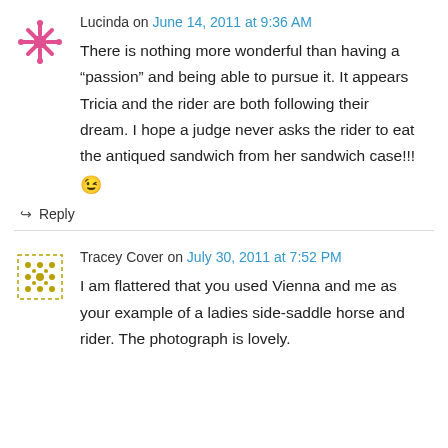[Figure (illustration): Pink/magenta decorative avatar icon with star/snowflake pattern for user Lucinda]
Lucinda on June 14, 2011 at 9:36 AM
There is nothing more wonderful than having a “passion” and being able to pursue it. It appears Tricia and the rider are both following their dream. I hope a judge never asks the rider to eat the antiqued sandwich from her sandwich case!!! 😉
↪ Reply
[Figure (illustration): Olive/yellow decorative avatar icon with grid dot pattern for user Tracey Cover]
Tracey Cover on July 30, 2011 at 7:52 PM
I am flattered that you used Vienna and me as your example of a ladies side-saddle horse and rider. The photograph is lovely.